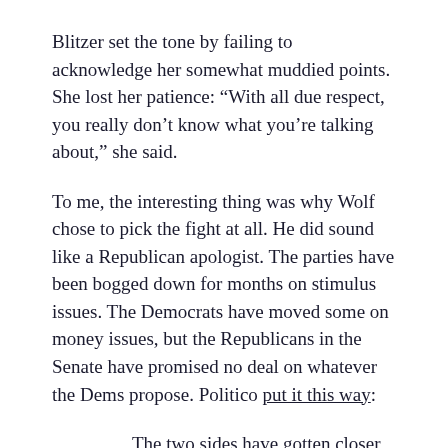Blitzer set the tone by failing to acknowledge her somewhat muddied points. She lost her patience: “With all due respect, you really don’t know what you’re talking about,” she said.
To me, the interesting thing was why Wolf chose to pick the fight at all. He did sound like a Republican apologist. The parties have been bogged down for months on stimulus issues. The Democrats have moved some on money issues, but the Republicans in the Senate have promised no deal on whatever the Dems propose. Politico put it this way:
The two sides have gotten closer on some issues, such as small-business aid, a new round of $1,200 stimulus checks and testing money, but remain divided over issues like unemployment aid and state and local government funding. But